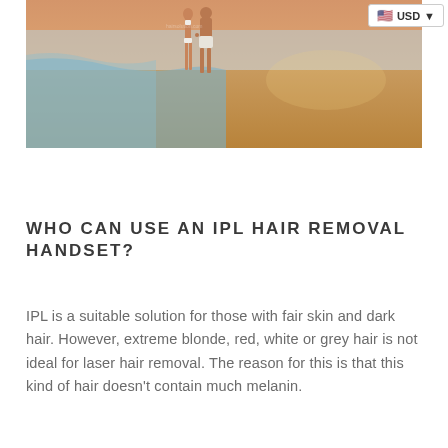[Figure (photo): A couple walking hand-in-hand on a beach at golden hour. The woman is wearing a white bikini and the man is wearing white shorts, both are fit and tanned. Ocean waves and sandy beach visible.]
WHO CAN USE AN IPL HAIR REMOVAL HANDSET?
IPL is a suitable solution for those with fair skin and dark hair. However, extreme blonde, red, white or grey hair is not ideal for laser hair removal. The reason for this is that this kind of hair doesn't contain much melanin.